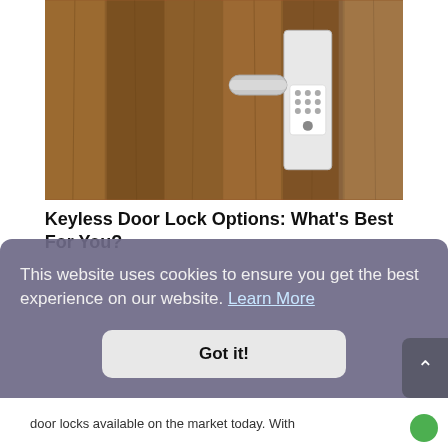[Figure (photo): Close-up photograph of a wooden door with a modern silver keyless electronic door lock handle and keypad unit mounted on it.]
Keyless Door Lock Options: What’s Best For You?
This website uses cookies to ensure you get the best experience on our website. Learn More
Got it!
door locks available on the market today. With